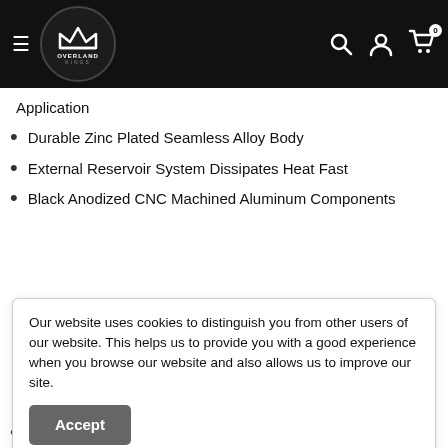Overland Kings — navigation header with logo, hamburger menu, search, account, and cart icons
Application
Durable Zinc Plated Seamless Alloy Body
External Reservoir System Dissipates Heat Fast
Black Anodized CNC Machined Aluminum Components
Our website uses cookies to distinguish you from other users of our website. This helps us to provide you with a good experience when you browse our website and also allows us to improve our site.
Compressed Length: 15.0